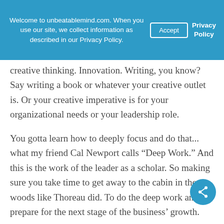Welcome to unbeatablemind.com. When you use our site, we collect information as described in our Privacy Policy.
creative thinking. Innovation. Writing, you know? Say writing a book or whatever your creative outlet is. Or your creative imperative is for your organizational needs or your leadership role.
You gotta learn how to deeply focus and do that... what my friend Cal Newport calls “Deep Work.” And this is the work of the leader as a scholar. So making sure you take time to get away to the cabin in the woods like Thoreau did. To do the deep work and to prepare for the next stage of the business’ growth.